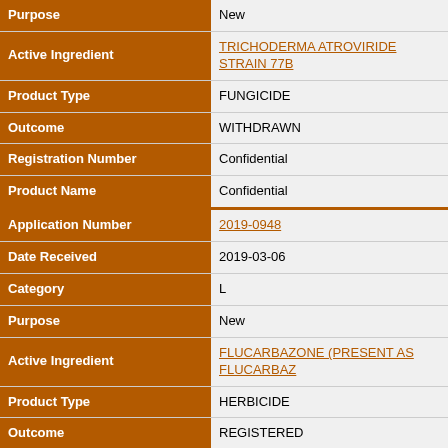| Field | Value |
| --- | --- |
| Purpose | New |
| Active Ingredient | TRICHODERMA ATROVIRIDE STRAIN 77B |
| Product Type | FUNGICIDE |
| Outcome | WITHDRAWN |
| Registration Number | Confidential |
| Product Name | Confidential |
| Application Number | 2019-0948 |
| Date Received | 2019-03-06 |
| Category | L |
| Purpose | New |
| Active Ingredient | FLUCARBAZONE (PRESENT AS FLUCARBAZ... |
| Product Type | HERBICIDE |
| Outcome | REGISTERED |
| Registration Number | 33370 |
| Product Name | HIMALAYA HERBICIDE |
| Application Number | 2019-1258 |
| Date Received | 2019-03-06 |
| Category | L |
| Purpose | New |
| Active Ingredient | BROMOXYNIL |
| Product Type | HERBICIDE |
| Outcome | REGISTERED |